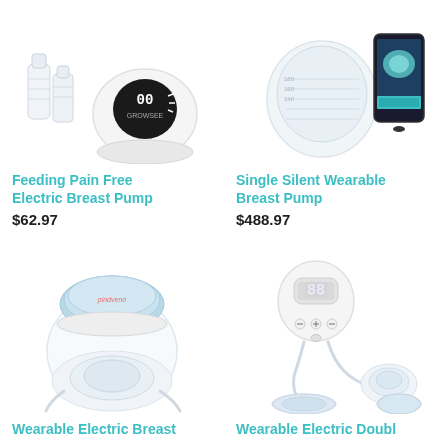[Figure (photo): Feeding Pain Free Electric Breast Pump product image showing pump unit with bottles and accessories]
Feeding Pain Free Electric Breast Pump
$62.97
[Figure (photo): Single Silent Wearable Breast Pump product image showing wearable pump unit and smartphone app]
Single Silent Wearable Breast Pump
$488.97
[Figure (photo): Wearable Electric Breast pump product image showing round wearable device with blue top]
Wearable Electric Breast...
[Figure (photo): Wearable Electric Double breast pump product image showing oval display unit with tubing and flanges]
Wearable Electric Doubl...